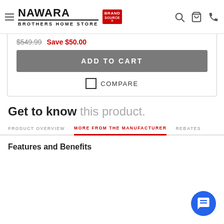NAWARA BROTHERS HOME STORE Brand Source
$549.99 Save $50.00
ADD TO CART
COMPARE
Get to know this product.
PRODUCT OVERVIEW  MORE FROM THE MANUFACTURER  REBATES
Features and Benefits